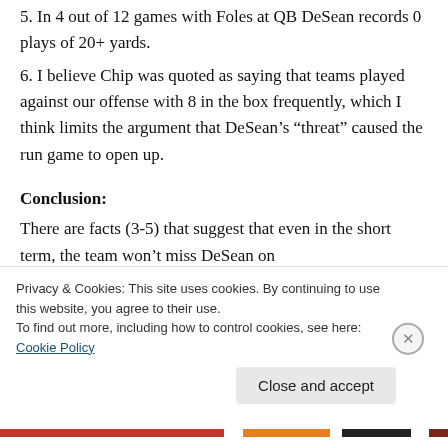5. In 4 out of 12 games with Foles at QB DeSean records 0 plays of 20+ yards.
6. I believe Chip was quoted as saying that teams played against our offense with 8 in the box frequently, which I think limits the argument that DeSean’s “threat” caused the run game to open up.
Conclusion:
There are facts (3-5) that suggest that even in the short term, the team won’t miss DeSean on
Privacy & Cookies: This site uses cookies. By continuing to use this website, you agree to their use.
To find out more, including how to control cookies, see here: Cookie Policy